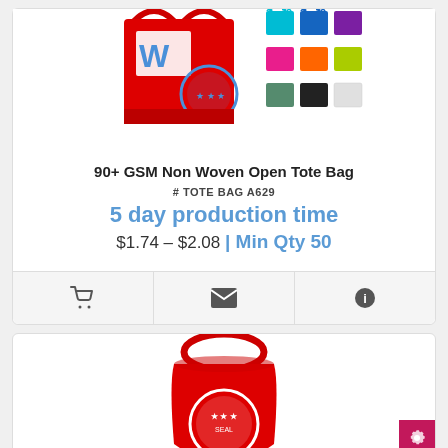[Figure (photo): Product listing for 90+ GSM Non Woven Open Tote Bag showing multiple colored tote bags with a logo imprint example]
90+ GSM Non Woven Open Tote Bag
# TOTE BAG A629
5 day production time
$1.74 – $2.08 | Min Qty 50
[Figure (photo): Second product listing showing a red eco shopping bag with a circular logo imprint, partially cropped at bottom of page]